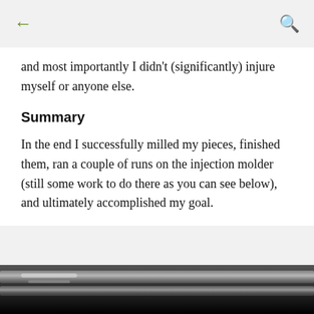← (back) | (search)
and most importantly I didn't (significantly) injure myself or anyone else.
Summary
In the end I successfully milled my pieces, finished them, ran a couple of runs on the injection molder (still some work to do there as you can see below), and ultimately accomplished my goal.
[Figure (photo): Close-up photo of metal rods or milled metal parts, dark background]